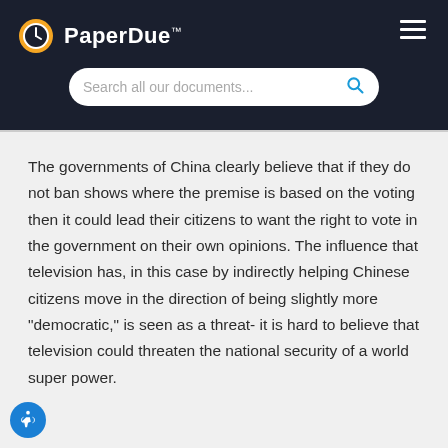PaperDue™
The governments of China clearly believe that if they do not ban shows where the premise is based on the voting then it could lead their citizens to want the right to vote in the government on their own opinions. The influence that television has, in this case by indirectly helping Chinese citizens move in the direction of being slightly more "democratic," is seen as a threat- it is hard to believe that television could threaten the national security of a world super power.